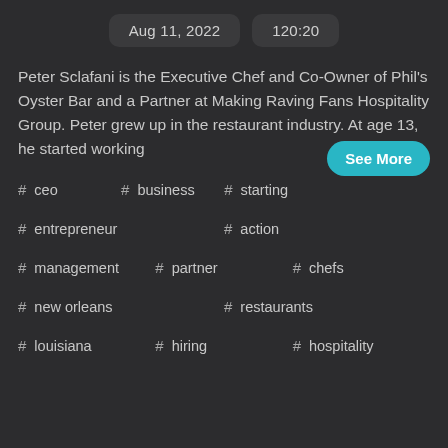Aug 11, 2022   120:20
Peter Sclafani is the Executive Chef and Co-Owner of Phil's Oyster Bar and a Partner at Making Raving Fans Hospitality Group. Peter grew up in the restaurant industry. At age 13, he started working
#ceo
#business
#starting
#entrepreneur
#action
#management
#partner
#chefs
#new orleans
#restaurants
#louisiana
#hiring
#hospitality